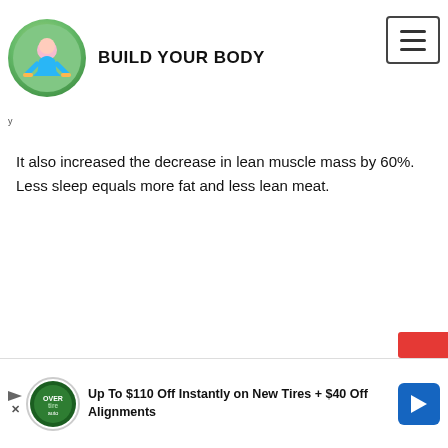BUILD YOUR BODY
It also increased the decrease in lean muscle mass by 60%. Less sleep equals more fat and less lean meat.
[Figure (infographic): Advertisement banner: Up To $110 Off Instantly on New Tires + $40 Off Alignments with logo and arrow icon]